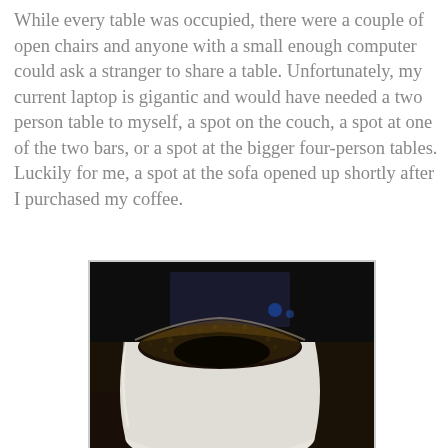While every table was occupied, there were a couple of open chairs and anyone with a small enough computer could ask a stranger to share a table. Unfortunately, my current laptop is gigantic and would have needed a two person table to myself, a spot on the couch, a spot at one of the two bars, or a spot at the bigger four-person tables. Luckily for me, a spot at the sofa opened up shortly after I purchased my coffee.
[Figure (photo): Close-up photograph of a white ceramic cup filled with black coffee with foam bubbles on the surface, set against a dark blurred background.]